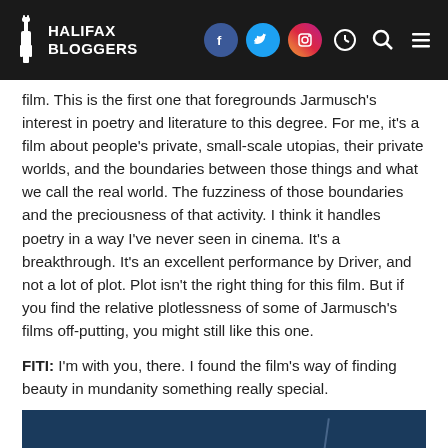HALIFAX BLOGGERS
film. This is the first one that foregrounds Jarmusch's interest in poetry and literature to this degree. For me, it's a film about people's private, small-scale utopias, their private worlds, and the boundaries between those things and what we call the real world. The fuzziness of those boundaries and the preciousness of that activity. I think it handles poetry in a way I've never seen in cinema. It's a breakthrough. It's an excellent performance by Driver, and not a lot of plot. Plot isn't the right thing for this film. But if you find the relative plotlessness of some of Jarmusch's films off-putting, you might still like this one.
FITI: I'm with you, there. I found the film's way of finding beauty in mundanity something really special.
[Figure (photo): Dark blue/night scene photograph, partially visible at bottom of page]